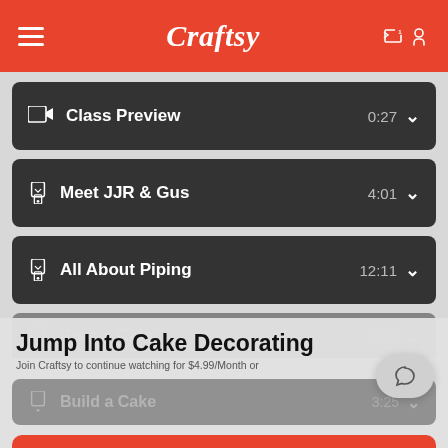Craftsy — hamburger menu, cart (1), user icon
Class Preview — 0:27
Meet JJR & Gus — 4:01
All About Piping — 12:11
Prep a Cake — 6:00 (blurred)
Jump Into Cake Decorating
Join Craftsy to continue watching for $4.99/Month or
Build a Cake — 3:25 (blurred)
GET CLASS ACCESS
8:00 (blurred, bottom hint)